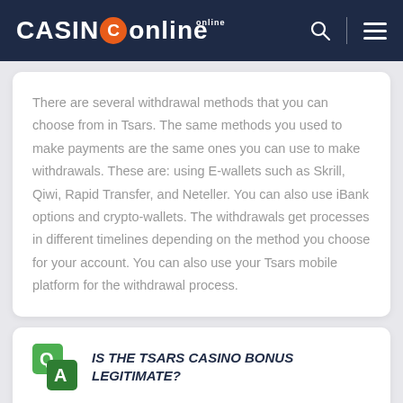CASINO online
There are several withdrawal methods that you can choose from in Tsars. The same methods you used to make payments are the same ones you can use to make withdrawals. These are: using E-wallets such as Skrill, Qiwi, Rapid Transfer, and Neteller. You can also use iBank options and crypto-wallets. The withdrawals get processes in different timelines depending on the method you choose for your account. You can also use your Tsars mobile platform for the withdrawal process.
IS THE TSARS CASINO BONUS LEGITIMATE?
The Tsars bonuses are as legitimate as it gets for any online